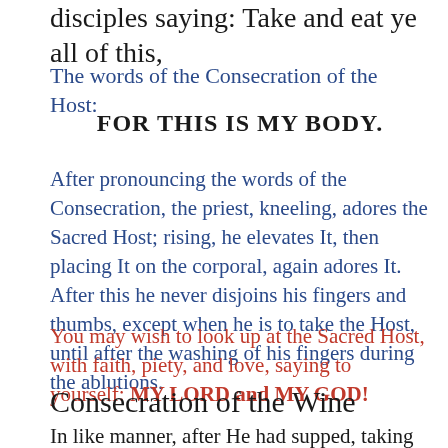disciples saying: Take and eat ye all of this,
The words of the Consecration of the Host:
FOR THIS IS MY BODY.
After pronouncing the words of the Consecration, the priest, kneeling, adores the Sacred Host; rising, he elevates It, then placing It on the corporal, again adores It. After this he never disjoins his fingers and thumbs, except when he is to take the Host, until after the washing of his fingers during the ablutions.
You may wish to look up at the Sacred Host, with faith, piety, and love, saying to yourself: MY LORD and MY GOD!
Consecration of the Wine
In like manner, after He had supped, taking also this excellent chalice into His holy and